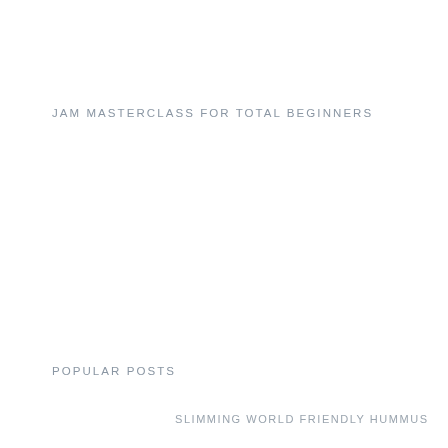JAM MASTERCLASS FOR TOTAL BEGINNERS
POPULAR POSTS
SLIMMING WORLD FRIENDLY HUMMUS